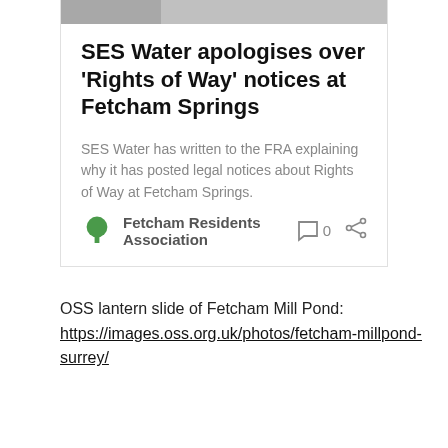[Figure (photo): Partial image at top of card, appears to be a map or document with text]
SES Water apologises over 'Rights of Way' notices at Fetcham Springs
SES Water has written to the FRA explaining why it has posted legal notices about Rights of Way at Fetcham Springs.
Fetcham Residents Association  0
OSS lantern slide of Fetcham Mill Pond: https://images.oss.org.uk/photos/fetcham-millpond-surrey/